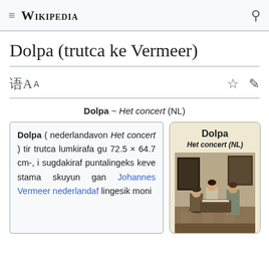≡ WIKIPEDIA 🔍
Dolpa (trutca ke Vermeer)
Dolpa ~ Het concert (NL)
Dolpa ( nederlandavon Het concert ) tir trutca lumkirafa gu 72.5 × 64.7 cm-, i sugdakiraf puntalingeks keve stama skuyun gan Johannes Vermeer nederlandaf lingesik moni
[Figure (illustration): Infobox with title 'Dolpa', subtitle 'Het concert (NL)', and a reproduction of Vermeer's painting The Concert showing figures around a harpsichord]